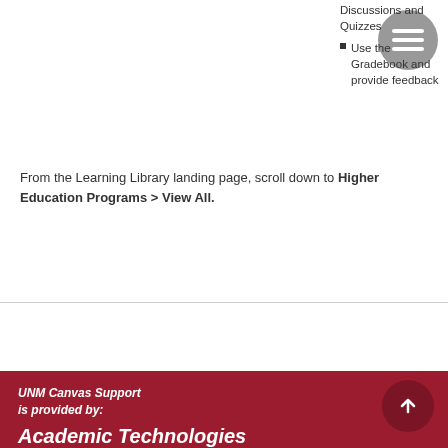Discussions and Quizzes
Use the Gradebook and provide feedback
From the Learning Library landing page, scroll down to Higher Education Programs > View All.
UNM Canvas Support is provided by: Academic Technologies